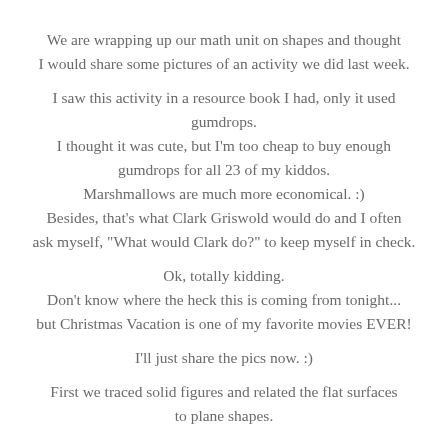We are wrapping up our math unit on shapes and thought I would share some pictures of an activity we did last week.
I saw this activity in a resource book I had, only it used gumdrops. I thought it was cute, but I'm too cheap to buy enough gumdrops for all 23 of my kiddos. Marshmallows are much more economical. :) Besides, that's what Clark Griswold would do and I often ask myself, "What would Clark do?" to keep myself in check.
Ok, totally kidding. Don't know where the heck this is coming from tonight... but Christmas Vacation is one of my favorite movies EVER!
I'll just share the pics now. :)
First we traced solid figures and related the flat surfaces to plane shapes.